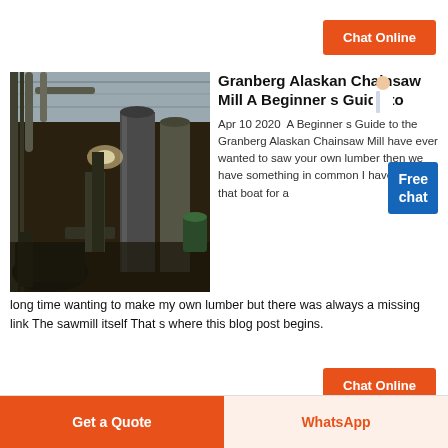Chat Online
[Figure (photo): Interior of an industrial factory or mill with large machinery, silos, pipes, and warehouse-style steel roof structure]
Granberg Alaskan Chainsaw Mill A Beginner s Guide to
Apr 10 2020  A Beginner s Guide to the Granberg Alaskan Chainsaw Mill have ever wanted to saw your own lumber then we have something in common I have been in that boat for a long time wanting to make my own lumber but there was always a missing link The sawmill itself That s where this blog post begins.
Chat Online
Get a Quote
WhatsApp